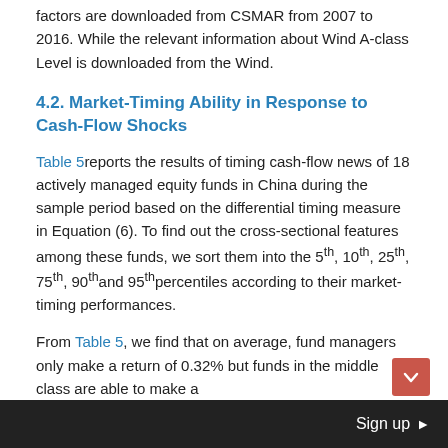factors are downloaded from CSMAR from 2007 to 2016. While the relevant information about Wind A-class Level is downloaded from the Wind.
4.2. Market-Timing Ability in Response to Cash-Flow Shocks
Table 5 reports the results of timing cash-flow news of 18 actively managed equity funds in China during the sample period based on the differential timing measure in Equation (6). To find out the cross-sectional features among these funds, we sort them into the 5th, 10th, 25th, 75th, 90th and 95th percentiles according to their market-timing performances.
From Table 5, we find that on average, fund managers only make a return of 0.32% but funds in the middle class are able to make a